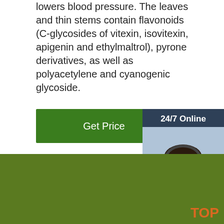lowers blood pressure. The leaves and thin stems contain flavonoids (C-glycosides of vitexin, isovitexin, apigenin and ethylmaltrol), pyrone derivatives, as well as polyacetylene and cyanogenic glycoside.
[Figure (other): Green 'Get Price' button]
[Figure (other): Sidebar with 24/7 Online customer service agent photo, 'Click here for free chat!' text, and QUOTATION button]
[Figure (photo): Close-up photograph of orange sea buckthorn berries on a branch with leaves, with 'TOP' watermark in lower right]